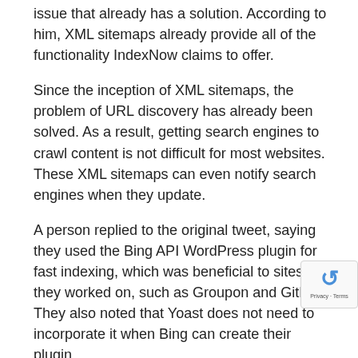issue that already has a solution. According to him, XML sitemaps already provide all of the functionality IndexNow claims to offer.
Since the inception of XML sitemaps, the problem of URL discovery has already been solved. As a result, getting search engines to crawl content is not difficult for most websites. These XML sitemaps can even notify search engines when they update.
A person replied to the original tweet, saying they used the Bing API WordPress plugin for fast indexing, which was beneficial to sites they worked on, such as Groupon and GitHub. They also noted that Yoast does not need to incorporate it when Bing can create their plugin.
De Valk then replied and acknowledged those benefits, but he said that these are only applicable to bigger sites. He added that applying the new indexing protocol to 12 million websites, most of them with less than 100 pages, seemed excessive.
Duda Gives Insights On The